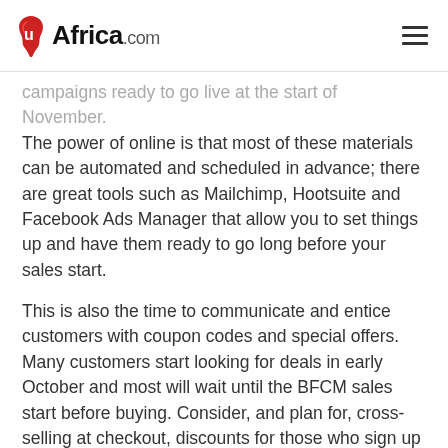uAfrica.com
campaigns ready to go live at the start of November. The power of online is that most of these materials can be automated and scheduled in advance; there are great tools such as Mailchimp, Hootsuite and Facebook Ads Manager that allow you to set things up and have them ready to go long before your sales start.
This is also the time to communicate and entice customers with coupon codes and special offers. Many customers start looking for deals in early October and most will wait until the BFCM sales start before buying. Consider, and plan for, cross-selling at checkout, discounts for those who sign up for early sales deals, gift guides and other marketing tactics to